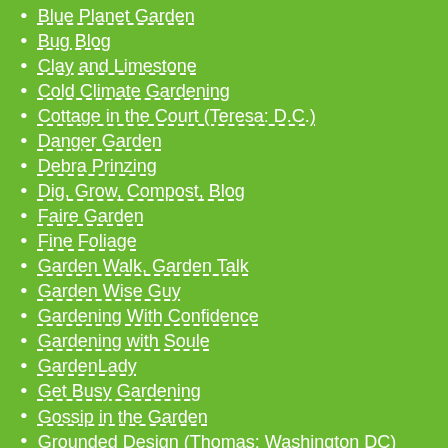Blue Planet Garden
Bug Blog
Clay and Limestone
Cold Climate Gardening
Cottage in the Court (Teresa: D.C.)
Danger Garden
Debra Prinzing
Dig, Grow, Compost, Blog
Faire Garden
Fine Foliage
Garden Walk, Garden Talk
Garden Wise Guy
Gardening With Confidence
Gardening with Soule
GardenLady
Get Busy Gardening
Gossip in the Garden
Grounded Design (Thomas: Washington DC)
Growing Days
Growing in the Garden (Arizona)
Hortitopia
It's Not Work, It's Gardening!